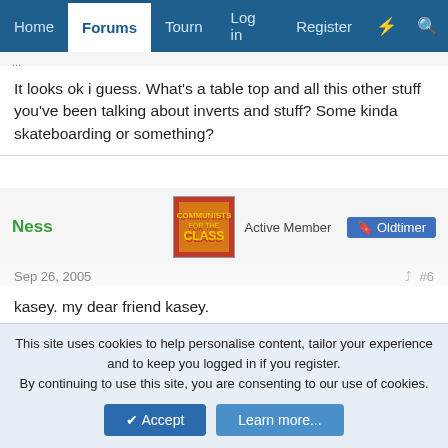Home | Forums | Tourn | Log in | Register
It looks ok i guess. What's a table top and all this other stuff you've been talking about inverts and stuff? Some kinda skateboarding or something?
Ness — Active Member — Oldtimer
Sep 26, 2005  #6
kasey. my dear friend kasey.
we are talking about breakdancing. why would you bring skateboarding into this?
This site uses cookies to help personalise content, tailor your experience and to keep you logged in if you register.
By continuing to use this site, you are consenting to our use of cookies.